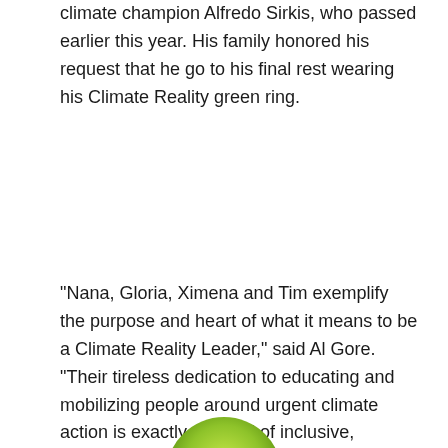climate champion Alfredo Sirkis, who passed earlier this year. His family honored his request that he go to his final rest wearing his Climate Reality green ring.
“Nana, Gloria, Ximena and Tim exemplify the purpose and heart of what it means to be a Climate Reality Leader,” said Al Gore. “Their tireless dedication to educating and mobilizing people around urgent climate action is exactly the kind of inclusive, community-based leadership we need to solve the climate crisis and create a better future for ourselves and future generations.”
[Figure (photo): Partial view of a green circular object (likely a green ring) visible at the bottom center of the page.]